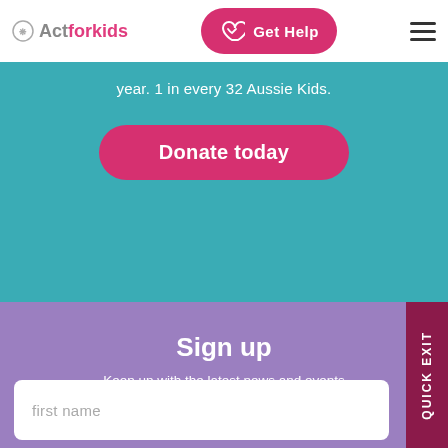Act for kids — Get Help navigation bar
year. 1 in every 32 Aussie Kids.
Donate today
Sign up
Keep up with the latest news and events
first name
QUICK EXIT